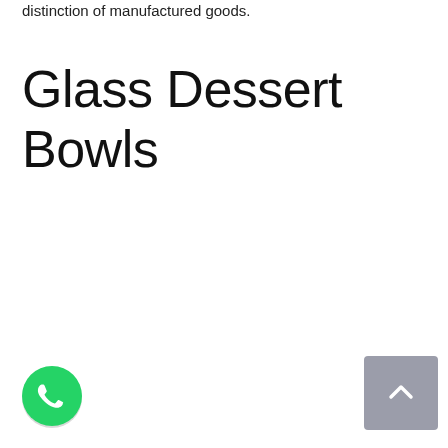distinction of manufactured goods.
Glass Dessert Bowls
[Figure (logo): WhatsApp icon button — green circle with white phone handset]
[Figure (other): Scroll-to-top button — grey/purple rounded rectangle with white upward chevron arrow]